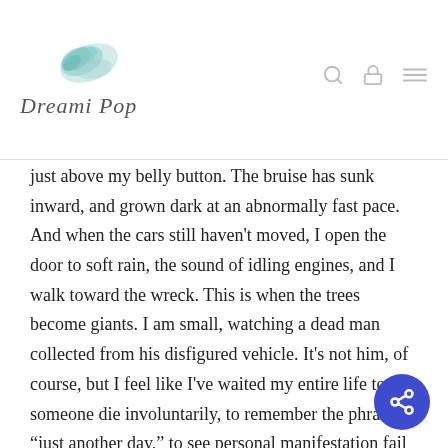[Figure (logo): DreamiPop logo with teal leaf/wing watercolor illustration above cursive text]
just above my belly button. The bruise has sunk inward, and grown dark at an abnormally fast pace. And when the cars still haven't moved, I open the door to soft rain, the sound of idling engines, and I walk toward the wreck. This is when the trees become giants. I am small, watching a dead man collected from his disfigured vehicle. It's not him, of course, but I feel like I've waited my entire life to see someone die involuntarily, to remember the phrase “just another day,” to see personal manifestation fail in the most resolute way. Rain collects in my eyes.